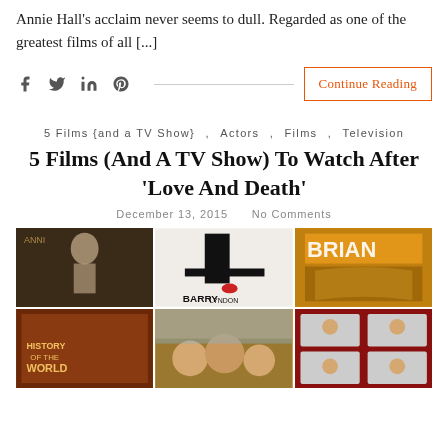Annie Hall's acclaim never seems to dull. Regarded as one of the greatest films of all [...]
f  y  in  P  [social icons row]  Continue Reading
5 Films {and a TV Show}  ,  Actors  ,  Films  ,  Television
5 Films (And A TV Show) To Watch After 'Love And Death'
December 13, 2015   No Comments
[Figure (photo): A 2x3 grid of six movie/TV show poster images including Barry Lyndon, History of the World, Life of Brian, and others]